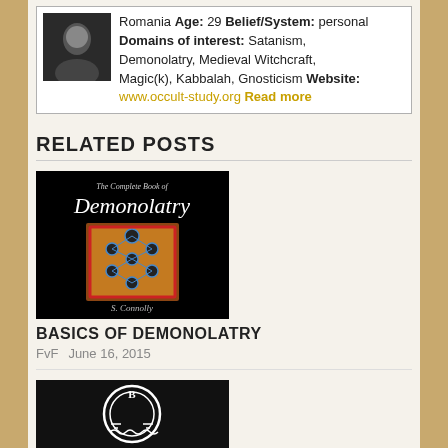Romania Age: 29 Belief/System: personal Domains of interest: Satanism, Demonolatry, Medieval Witchcraft, Magic(k), Kabbalah, Gnosticism Website: www.occult-study.org Read more
RELATED POSTS
[Figure (illustration): Book cover of 'The Complete Book of Demonolatry' by S. Connolly, black background with a Kabbalah Tree of Life image in a red-bordered frame on a brown/orange background]
BASICS OF DEMONOLATRY
FvF   June 16, 2015
[Figure (illustration): Black and white circular sigil with 'B' at top, decorative lines and wavy pattern inside]